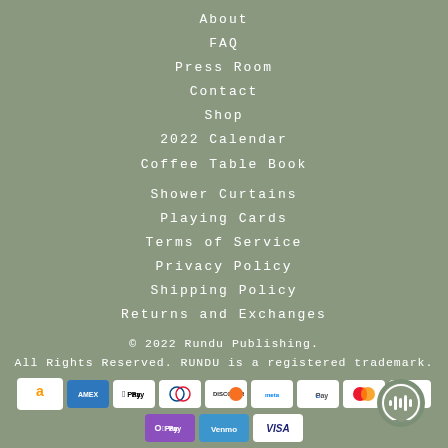About
FAQ
Press Room
Contact
Shop
2022 Calendar
Coffee Table Book
Shower Curtains
Playing Cards
Terms of Service
Privacy Policy
Shipping Policy
Returns and Exchanges
© 2022 Rundu Publishing.
All Rights Reserved. RUNDU is a registered trademark.
[Figure (other): Payment method icons: Amazon, Amex, Apple Pay, Diners, Discover, Meta Pay, Google Pay, Mastercard, PayPal, OPay, Venmo, Visa]
[Figure (other): Chat/audio support icon in bottom right corner]